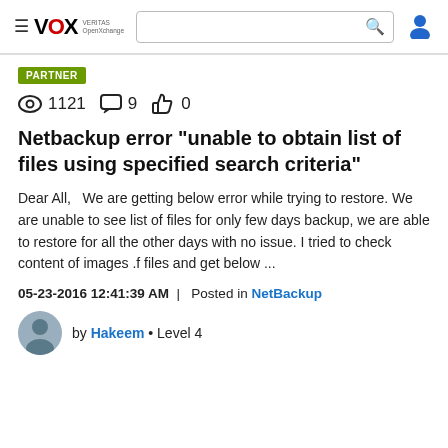VOX VERITAS OpenExchange — navigation header with search bar and user icon
PARTNER
1121 views  9 comments  0 likes
Netbackup error "unable to obtain list of files using specified search criteria"
Dear All,   We are getting below error while trying to restore. We are unable to see list of files for only few days backup, we are able to restore for all the other days with no issue. I tried to check content of images .f files and get below ...
05-23-2016 12:41:39 AM  |  Posted in NetBackup
by Hakeem • Level 4